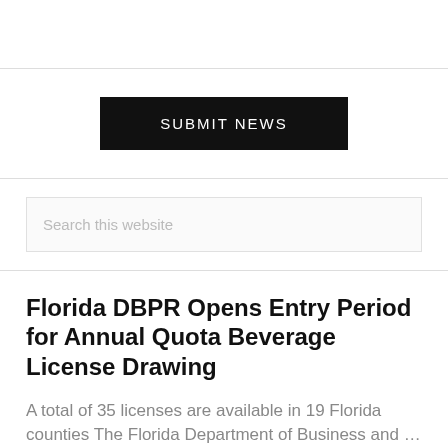[Figure (other): Top empty section with white background and bottom border]
SUBMIT NEWS
Search this website
Florida DBPR Opens Entry Period for Annual Quota Beverage License Drawing
A total of 35 licenses are available in 19 Florida counties The Florida Department of Business and …
[Read More...]